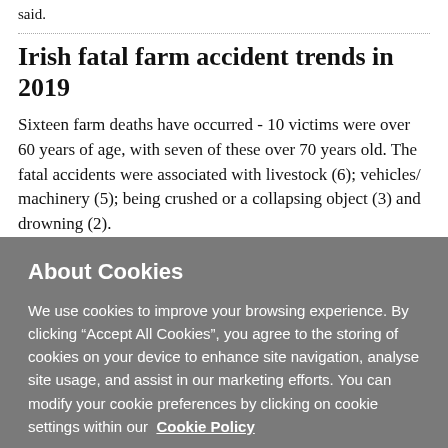said.
Irish fatal farm accident trends in 2019
Sixteen farm deaths have occurred - 10 victims were over 60 years of age, with seven of these over 70 years old. The fatal accidents were associated with livestock (6); vehicles/ machinery (5); being crushed or a collapsing object (3) and drowning (2).
About Cookies
We use cookies to improve your browsing experience. By clicking “Accept All Cookies”, you agree to the storing of cookies on your device to enhance site navigation, analyse site usage, and assist in our marketing efforts. You can modify your cookie preferences by clicking on cookie settings within our  Cookie Policy
Cookie Settings
Accept All Cookies